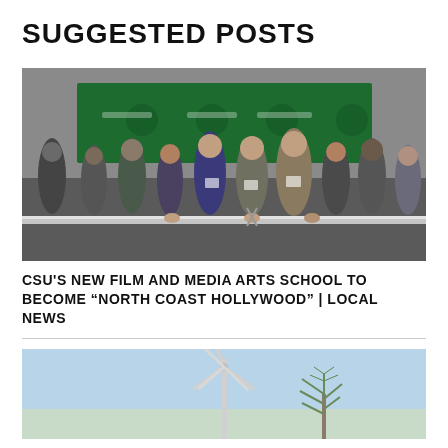SUGGESTED POSTS
[Figure (photo): Group of people at a ribbon-cutting ceremony in front of a Cleveland State University green branded backdrop]
CSU'S NEW FILM AND MEDIA ARTS SCHOOL TO BECOME “NORTH COAST HOLLYWOOD” | LOCAL NEWS
[Figure (photo): Wind turbine against a light blue sky with a tree in the background]